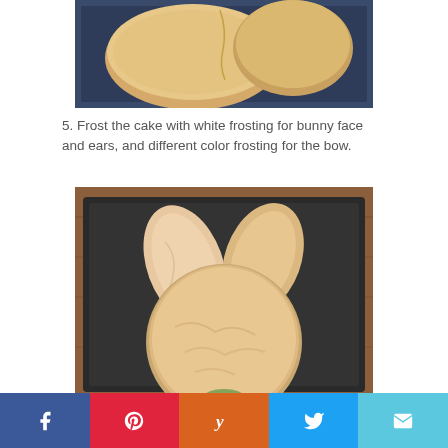[Figure (photo): Unfrosted cake pieces arranged on a dark baking tray — two round cake halves positioned together on a blue/dark pan, seen from above.]
5. Frost the cake with white frosting for bunny face and ears, and different color frosting for the bow.
[Figure (photo): A bunny-shaped cake frosted with white/cream frosting on a dark baking tray. The cake has a round face and two ear-shaped pieces arranged at the top, all covered in white frosting, placed on a wooden surface.]
Facebook | Pinterest | Yummly | Twitter | Email share buttons